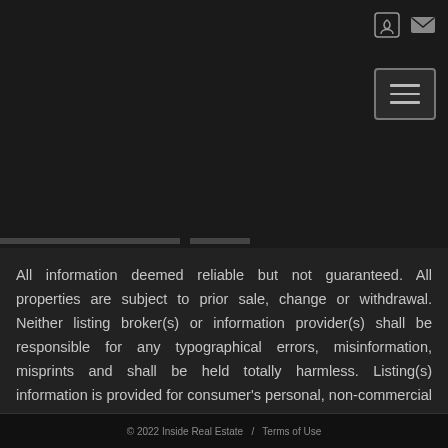[Figure (other): Header icons: login/user icon and email/envelope icon in top right corner, plus hamburger menu button below]
All information deemed reliable but not guaranteed. All properties are subject to prior sale, change or withdrawal. Neither listing broker(s) or information provider(s) shall be responsible for any typographical errors, misinformation, misprints and shall be held totally harmless. Listing(s) information is provided for consumer's personal, non-commercial use and may not be used for any purpose other than to identify prospective properties consumers may be interested   Show More...
© 2022 Inside Real Estate  /  Terms of Use